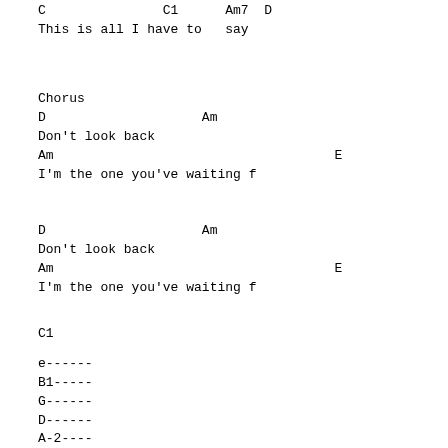C               C1      Am7  D
This is all I have to   say
Chorus
D                    Am
Don't look back
Am                                    E
I'm the one you've waiting f
D                    Am
Don't look back
Am                                    E
I'm the one you've waiting f
C1
e------
B1-----
G------
D------
A-2----
E-----